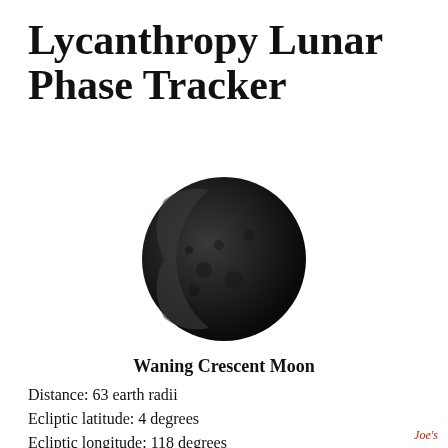Lycanthropy Lunar Phase Tracker
[Figure (illustration): Dark moon illustration showing a Waning Crescent Moon phase — a nearly dark circle with slight lighter crescent visible on the left side, dark charcoal/black coloring with subtle texture]
Waning Crescent Moon
Distance: 63 earth radii
Ecliptic latitude: 4 degrees
Ecliptic longitude: 118 degrees
Joe's